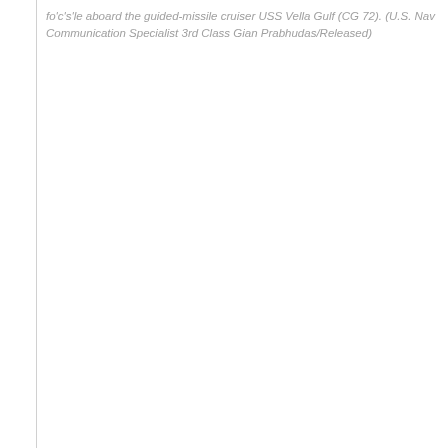fo'c's'le aboard the guided-missile cruiser USS Vella Gulf (CG 72). (U.S. Navy photo by Mass Communication Specialist 3rd Class Gian Prabhudas/Released)